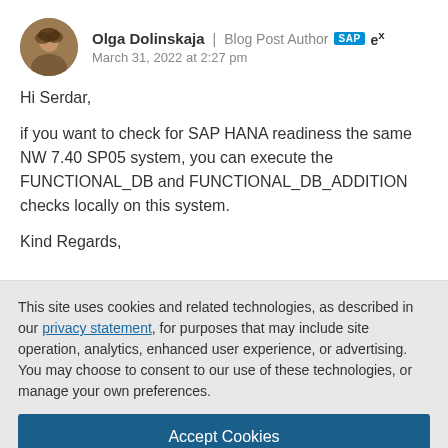[Figure (photo): Circular avatar photo of Olga Dolinskaja, a woman with dark hair]
Olga Dolinskaja | Blog Post Author [SAP badge] ex
March 31, 2022 at 2:27 pm
Hi Serdar,

if you want to check for SAP HANA readiness the same NW 7.40 SP05 system, you can execute the FUNCTIONAL_DB and FUNCTIONAL_DB_ADDITION checks locally on this system.

Kind Regards,
This site uses cookies and related technologies, as described in our privacy statement, for purposes that may include site operation, analytics, enhanced user experience, or advertising. You may choose to consent to our use of these technologies, or manage your own preferences.
Accept Cookies
More Information
Privacy Policy | Powered by: TrustArc
functionalities are available in NW 7.52 or higher ?